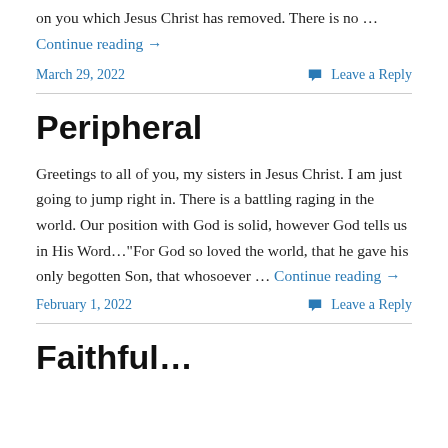on you which Jesus Christ has removed.  There is no …
Continue reading →
March 29, 2022
Leave a Reply
Peripheral
Greetings to all of you, my sisters in Jesus Christ.  I am just going to jump right in.  There is a battling raging in the world.  Our position with God is solid, however God tells us in His Word…"For God so loved the world, that he gave his only begotten Son, that whosoever … Continue reading →
February 1, 2022
Leave a Reply
Faithful…